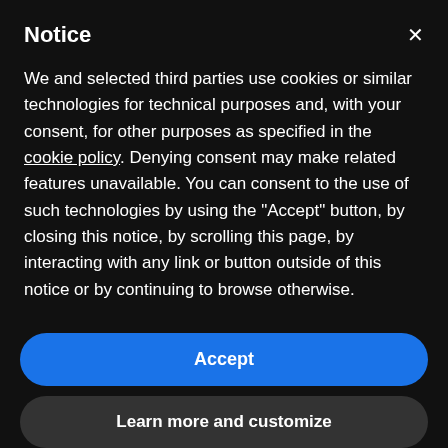Notice
We and selected third parties use cookies or similar technologies for technical purposes and, with your consent, for other purposes as specified in the cookie policy. Denying consent may make related features unavailable. You can consent to the use of such technologies by using the "Accept" button, by closing this notice, by scrolling this page, by interacting with any link or button outside of this notice or by continuing to browse otherwise.
Accept
Learn more and customize
[Figure (logo): SNUP logo in bold italic white text on dark background]
SETS
CLUBS